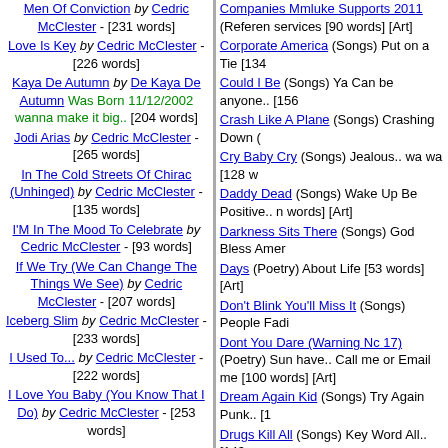Men Of Conviction by Cedric McClester - [231 words]
Love Is Key by Cedric McClester - [226 words]
Kaya De Autumn by De Kaya De Autumn Was Born 11/12/2002 wanna make it big.. [204 words]
Jodi Arias by Cedric McClester - [265 words]
In The Cold Streets Of Chirac (Unhinged) by Cedric McClester - [135 words]
I'M In The Mood To Celebrate by Cedric McClester - [93 words]
If We Try (We Can Change The Things We See) by Cedric McClester - [207 words]
Iceberg Slim by Cedric McClester - [233 words]
I Used To... by Cedric McClester - [222 words]
I Love You Baby (You Know That I Do) by Cedric McClester - [253 words]
Companies Mmluke Supports 2011 (Reference) services [90 words] [Art]
Corporate America (Songs) Put on a Tie [134
Could I Be (Songs) Ya Can be anyone.. [156
Crash Like A Plane (Songs) Crashing Down (
Cry Baby Cry (Songs) Jealous.. wa wa [128 w
Daddy Dead (Songs) Wake Up Be Positive.. n words] [Art]
Darkness Sits There (Songs) God Bless Amer
Days (Poetry) About Life [53 words] [Art]
Don't Blink You'll Miss It (Songs) People Fadin
Dont You Dare (Warning Nc 17) (Poetry) Sun have.. Call me or Email me [100 words] [Art]
Dream Again Kid (Songs) Try Again Punk.. [15
Drugs Kill All (Songs) Key Word All.. [143 wor
Enjoy Hell (Songs) Im Still Alive and Winning. lawyer ha epic.. [156 words] [Art]
Ever Since I Was A Kid (Reference) The Drea
Everyday Abuse (Songs) Im Back na na na it care.. 4 U [173 words] [Art]
Flashlight Tag (Poetry) Kids Having Fun [46 w
Game Over (Songs) I Won I can outwrite ya in T [155 words] [Art]
Get Out..Now (Songs) Ya can not Rap.. [169
Get Up.. (Poetry) A Champion is someone wh [28 words] [Art]